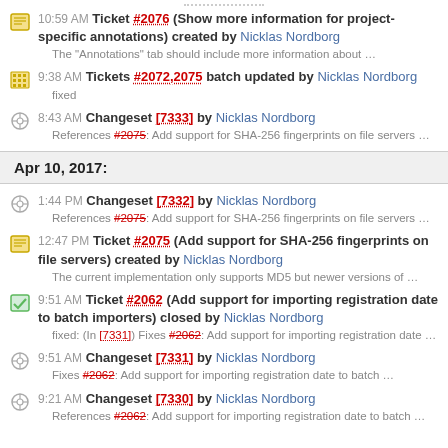10:59 AM Ticket #2076 (Show more information for project-specific annotations) created by Nicklas Nordborg — The "Annotations" tab should include more information about …
9:38 AM Tickets #2072,2075 batch updated by Nicklas Nordborg — fixed
8:43 AM Changeset [7333] by Nicklas Nordborg — References #2075: Add support for SHA-256 fingerprints on file servers …
Apr 10, 2017:
1:44 PM Changeset [7332] by Nicklas Nordborg — References #2075: Add support for SHA-256 fingerprints on file servers …
12:47 PM Ticket #2075 (Add support for SHA-256 fingerprints on file servers) created by Nicklas Nordborg — The current implementation only supports MD5 but newer versions of …
9:51 AM Ticket #2062 (Add support for importing registration date to batch importers) closed by Nicklas Nordborg — fixed: (In [7331]) Fixes #2062: Add support for importing registration date …
9:51 AM Changeset [7331] by Nicklas Nordborg — Fixes #2062: Add support for importing registration date to batch …
9:21 AM Changeset [7330] by Nicklas Nordborg — References #2062: Add support for importing registration date to batch …